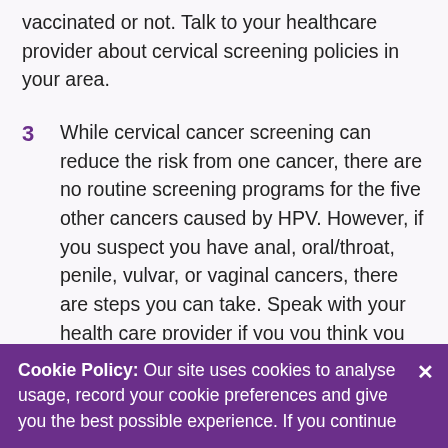vaccinated or not. Talk to your healthcare provider about cervical screening policies in your area.
3  While cervical cancer screening can reduce the risk from one cancer, there are no routine screening programs for the five other cancers caused by HPV. However, if you suspect you have anal, oral/throat, penile, vulvar, or vaginal cancers, there are steps you can take. Speak with your health care provider if you you think you may be at risk of having HPV infection in these areas of the body or if you have concerns about pain, bleeding, new growths or other changes at these sites. Having a thorough inspection of the mouth/throat by a dental professional can help to
Cookie Policy: Our site uses cookies to analyse usage, record your cookie preferences and give you the best possible experience. If you continue